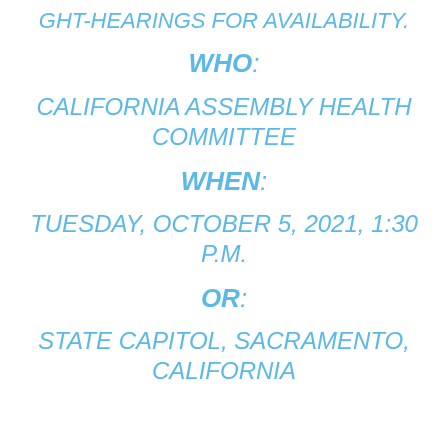GHT-HEARINGS FOR AVAILABILITY.
WHO:
CALIFORNIA ASSEMBLY HEALTH COMMITTEE
WHEN:
TUESDAY, OCTOBER 5, 2021, 1:30 P.M.
OR:
STATE CAPITOL, SACRAMENTO, CALIFORNIA